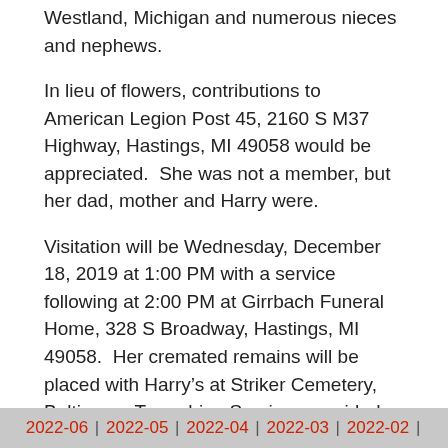Westland, Michigan and numerous nieces and nephews.
In lieu of flowers, contributions to American Legion Post 45, 2160 S M37 Highway, Hastings, MI 49058 would be appreciated.  She was not a member, but her dad, mother and Harry were.
Visitation will be Wednesday, December 18, 2019 at 1:00 PM with a service following at 2:00 PM at Girrbach Funeral Home, 328 S Broadway, Hastings, MI  49058.  Her cremated remains will be placed with Harry's at Striker Cemetery, Baltimore, Township.  Services provided by Girrbach Funeral Home, to leave an online condolence, visit www.girrbachfuneralhome.net.
Archives:
2022-06 | 2022-05 | 2022-04 | 2022-03 | 2022-02 |